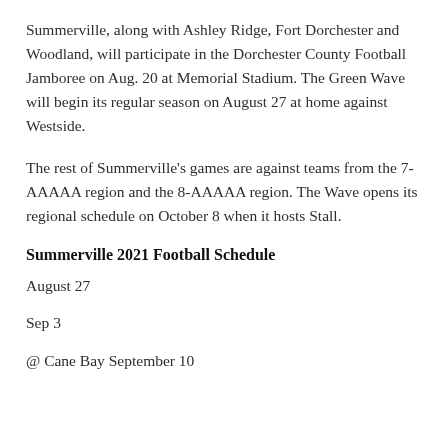Summerville, along with Ashley Ridge, Fort Dorchester and Woodland, will participate in the Dorchester County Football Jamboree on Aug. 20 at Memorial Stadium. The Green Wave will begin its regular season on August 27 at home against Westside.
The rest of Summerville's games are against teams from the 7-AAAAA region and the 8-AAAAA region. The Wave opens its regional schedule on October 8 when it hosts Stall.
Summerville 2021 Football Schedule
August 27
Sep 3
@ Cane Bay September 10